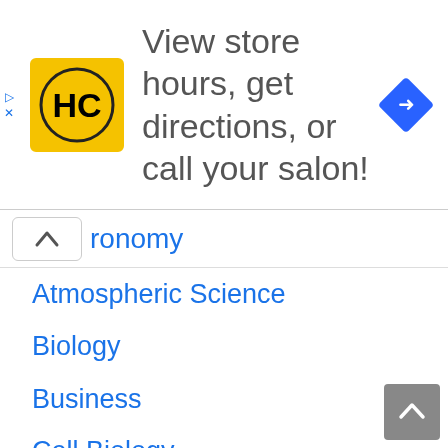[Figure (screenshot): Advertisement banner for a salon/hair care business (HC logo in yellow square) with text 'View store hours, get directions, or call your salon!' and a blue navigation diamond icon on the right. Small arrow and X close icons on the left edge.]
ronomy
Atmospheric Science
Biology
Business
Cell Biology
Ecology
Education
Food
General
Geography